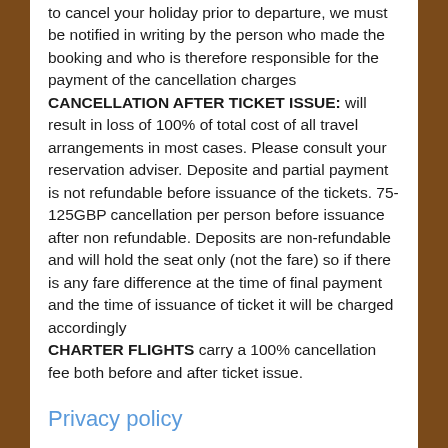to cancel your holiday prior to departure, we must be notified in writing by the person who made the booking and who is therefore responsible for the payment of the cancellation charges CANCELLATION AFTER TICKET ISSUE: will result in loss of 100% of total cost of all travel arrangements in most cases. Please consult your reservation adviser. Deposite and partial payment is not refundable before issuance of the tickets. 75-125GBP cancellation per person before issuance after non refundable. Deposits are non-refundable and will hold the seat only (not the fare) so if there is any fare difference at the time of final payment and the time of issuance of ticket it will be charged accordingly CHARTER FLIGHTS carry a 100% cancellation fee both before and after ticket issue.
Privacy policy